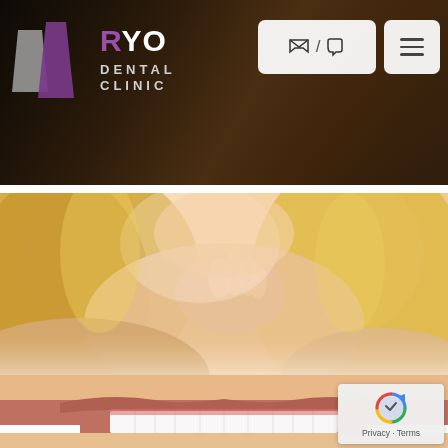[Figure (logo): RYO Dental Clinic logo with two tooth-shaped chevrons (gray and purple) and white text on dark background]
[Figure (photo): Close-up of blonde woman touching her neck/shoulder, beauty/dental clinic promotional photo]
[Figure (photo): Close-up of woman's smile showing white teeth, dental clinic promotional photo]
[Figure (other): reCAPTCHA badge with Google logo and Privacy/Terms links]